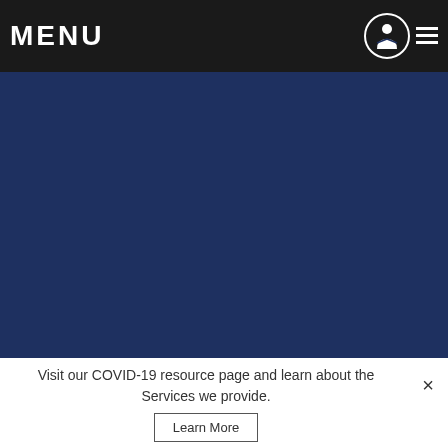MENU
Services
Quality
Sustainability
Janitorial News
Contact Us
Careers
Locations
Terms and Conditions
Sitemap
Login
Client
Employee
SERVICE BY
Visit our COVID-19 resource page and learn about the Services we provide. Learn More